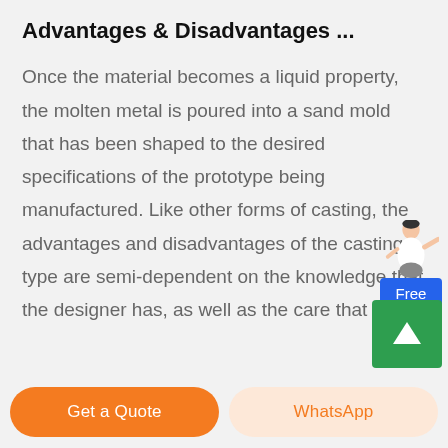Advantages & Disadvantages ...
Once the material becomes a liquid property, the molten metal is poured into a sand mold that has been shaped to the desired specifications of the prototype being manufactured. Like other forms of casting, the advantages and disadvantages of the casting type are semi-dependent on the knowledge that the designer has, as well as the care that ...
[Figure (illustration): Free chat widget with a person figure and blue button labeled 'Free chat']
[Figure (illustration): Green scroll-up button with upward arrow]
Get a Quote
WhatsApp